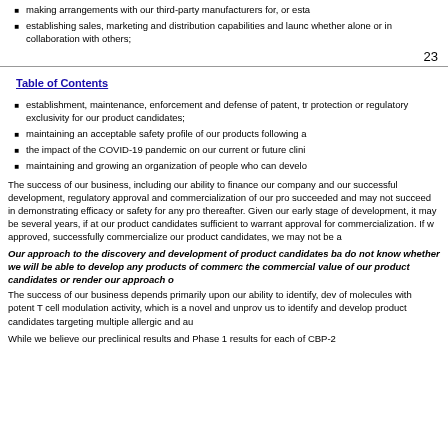making arrangements with our third-party manufacturers for, or esta
establishing sales, marketing and distribution capabilities and launc whether alone or in collaboration with others;
23
Table of Contents
establishment, maintenance, enforcement and defense of patent, tr protection or regulatory exclusivity for our product candidates;
maintaining an acceptable safety profile of our products following a
the impact of the COVID-19 pandemic on our current or future clini
maintaining and growing an organization of people who can develo
The success of our business, including our ability to finance our company and successful development, regulatory approval and commercialization of our pro succeeded and may not succeed in demonstrating efficacy or safety for any pro thereafter. Given our early stage of development, it may be several years, if at our product candidates sufficient to warrant approval for commercialization. If v approved, successfully commercialize our product candidates, we may not be a
Our approach to the discovery and development of product candidates ba do not know whether we will be able to develop any products of commerc the commercial value of our product candidates or render our approach o
The success of our business depends primarily upon our ability to identify, dev of molecules with potent T cell modulation activity, which is a novel and unprov us to identify and develop product candidates targeting multiple allergic and au
While we believe our preclinical results and Phase 1 results for each of CBP-2